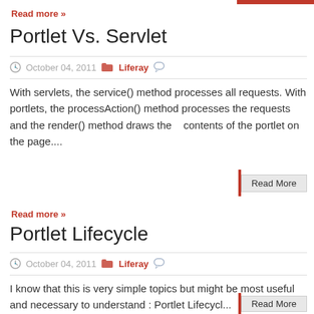Read more »
Portlet Vs. Servlet
October 04, 2011  Liferay
With servlets, the service() method processes all requests. With portlets, the processAction() method processes the requests and the render() method draws the contents of the portlet on the page....
Read More
Read more »
Portlet Lifecycle
October 04, 2011  Liferay
I know that this is very simple topics but might be most useful and necessary to understand : Portlet Lifecycl...
Read More